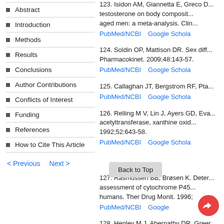Abstract
Introduction
Methods
Results
Conclusions
Author Contributions
Conflicts of Interest
Funding
References
How to Cite This Article
< Previous   Next >
123. Isidon AM, Giannetta E, Greco D... testosterone on body composition... aged men: a meta-analysis. Clin... PubMed/NCBI   Google Scholar
124. Soldin OP, Mattison DR. Sex diff... Pharmacokinet. 2009;48:143-57. PubMed/NCBI   Google Scholar
125. Callaghan JT, Bergstrom RF, Pta... PubMed/NCBI   Google Scholar
126. Relling M V, Lin J, Ayers GD, Eva... acetyltransferase, xanthine oxid... 1992;52:643-58. PubMed/NCBI   Google Scholar
Back to Top
127. Rasmussen BB, Brøsen K. Deter... assessment of cytochrome P45... humans. Ther Drug Monit. 1996; PubMed/NCBI   Google Scholar
128. Henley M J, Abernathy DR, Greer...